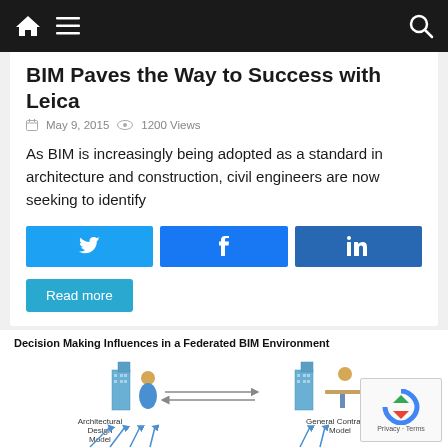BIM Paves the Way to Success with Leica
BIM Paves the Way to Success with Leica
May 9, 2015  1200 Views
As BIM is increasingly being adopted as a standard in architecture and construction, civil engineers are now seeking to identify
[Figure (other): Social share buttons: Twitter, Facebook, LinkedIn]
Read more
[Figure (infographic): Decision Making Influences in a Federated BIM Environment diagram showing Architectural Design Model and General Contractor Model with figures and arrows]